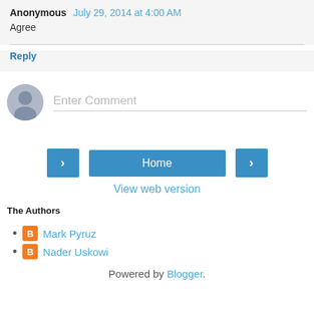Anonymous July 29, 2014 at 4:00 AM
Agree
Reply
[Figure (other): Enter Comment input field with avatar]
[Figure (other): Navigation buttons: left arrow, Home, right arrow]
View web version
The Authors
Mark Pyruz
Nader Uskowi
Powered by Blogger.